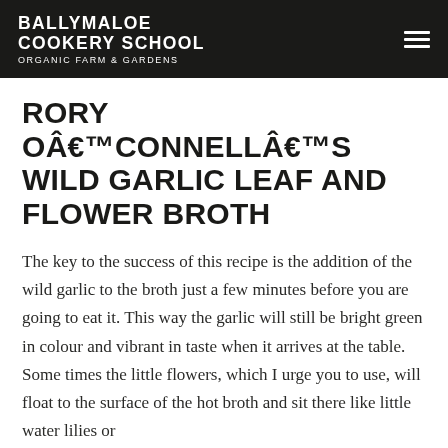BALLYMALOE COOKERY SCHOOL ORGANIC FARM & GARDENS
RORY OÂ€™CONNELLÂ€™S WILD GARLIC LEAF AND FLOWER BROTH
The key to the success of this recipe is the addition of the wild garlic to the broth just a few minutes before you are going to eat it. This way the garlic will still be bright green in colour and vibrant in taste when it arrives at the table. Some times the little flowers, which I urge you to use, will float to the surface of the hot broth and sit there like little water lilies or